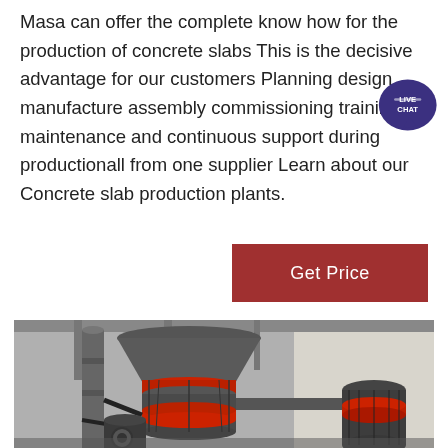Masa can offer the complete know how for the production of concrete slabs This is the decisive advantage for our customers Planning design manufacture assembly commissioning training maintenance and continuous support during productionall from one supplier Learn about our Concrete slab production plants.
[Figure (other): Live Chat speech bubble badge in dark purple/indigo color with white text 'LIVE CHAT']
[Figure (other): Button labeled 'Get Price' with dark red/crimson background and white text]
[Figure (photo): Industrial machinery photo showing large grey cylindrical grinding mill equipment with red accent rings and mechanical components in a factory/warehouse setting]